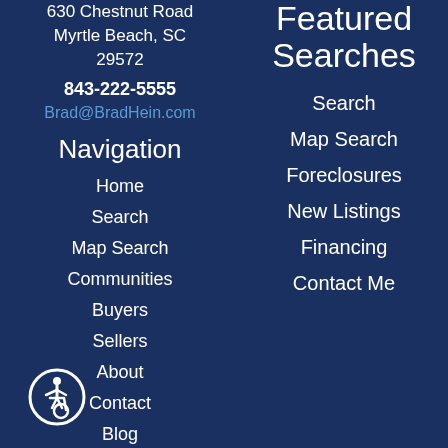630 Chestnut Road
Myrtle Beach, SC 29572
843-222-5555
Brad@BradHein.com
Navigation
Home
Search
Map Search
Communities
Buyers
Sellers
About
Contact
Blog
Featured Searches
Search
Map Search
Foreclosures
New Listings
Financing
Contact Me
[Figure (illustration): Accessibility icon: a circular white-bordered icon depicting a person in a wheelchair]